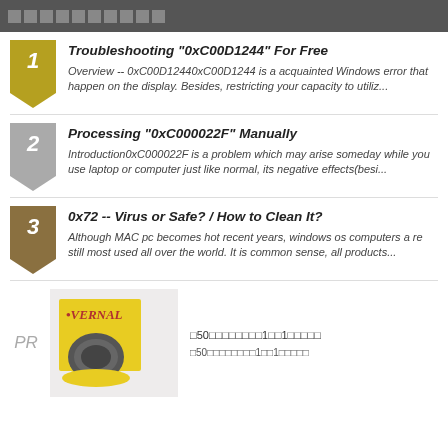□□□□□□□□□□
Troubleshooting "0xC00D1244" For Free -- Overview -- 0xC00D12440xC00D1244 is a acquainted Windows error that happen on the display. Besides, restricting your capacity to utiliz...
Processing "0xC000022F" Manually -- Introduction0xC000022F is a problem which may arise someday while you use laptop or computer just like normal, its negative effects(besi...
0x72 -- Virus or Safe? / How to Clean It? -- Although MAC pc becomes hot recent years, windows os computers are still most used all over the world. It is common sense, all products...
[Figure (photo): Product image: VERNAL branded yellow disc/tablet product on yellow platform against light background]
□50□□□□□□□□1□□1□□□□□
□50□□□□□□□□1□□1□□□□□